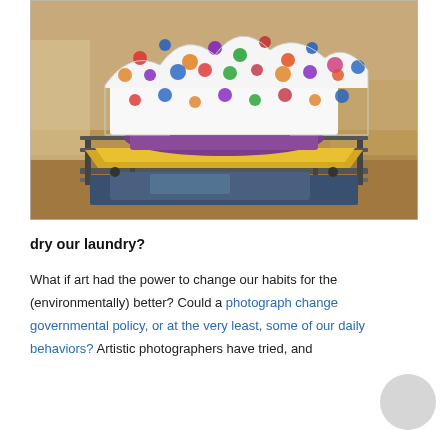[Figure (photo): A colorful polka-dot patterned sofa/couch with clothes and fabrics draped over a metal rack frame, sitting outdoors on a rooftop or dry sandy ground. A purple cloth, golden yellow fabric, and blue jeans are layered on the rack below the sofa. The background shows a sandy/dusty landscape.]
dry our laundry?
What if art had the power to change our habits for the (environmentally) better?  Could a photograph change governmental policy, or at the very least, some of our daily behaviors?  Artistic photographers have tried, and